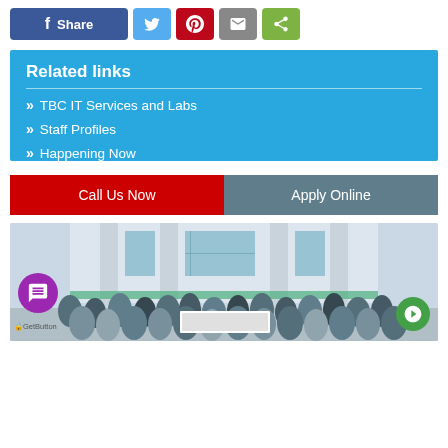[Figure (other): Social share bar with Facebook Share button, Twitter, Pinterest, Email, and generic share icons]
Related links
TBC IT Services and Labs
Staff Profiles
Happening Now
Call Us Now
Apply Online
[Figure (photo): Group photo of students standing in front of a building with columns and large windows. A purple chat bubble icon and GetButton label visible at bottom left, green circle icon at bottom right.]